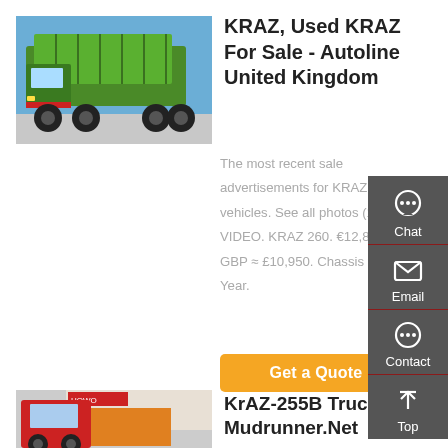[Figure (photo): Green KRAZ dump truck parked on a lot, side/front view, blue sky background]
KRAZ, Used KRAZ For Sale - Autoline United Kingdom
The most recent sale advertisements for KRAZ vehicles. See all photos (10) VIDEO. KRAZ 260. €12,800 GBP ≈ £10,950. Chassis truck. Year.
Get a Quote
[Figure (photo): Red HOWO truck cab viewed from rear-side in a dealership lot]
KrAZ-255B Truck for Mudrunner.Net